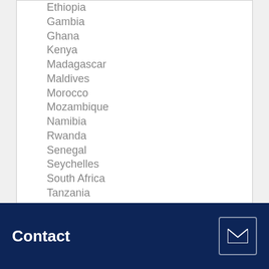Ethiopia
Gambia
Ghana
Kenya
Madagascar
Maldives
Morocco
Mozambique
Namibia
Rwanda
Senegal
Seychelles
South Africa
Tanzania
Tunisia
Uganda
Zambia
Zimbabwe
Angola
Contact
Antarctica